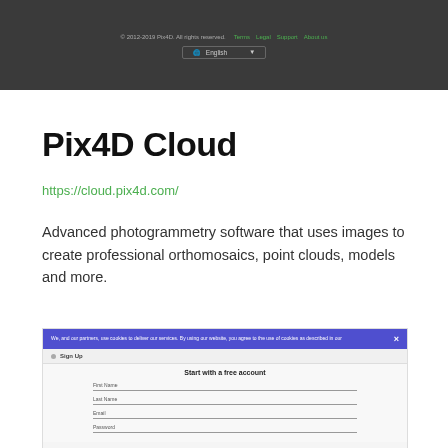© 2012-2019 Pix4D. All rights reserved. | Terms | Legal | Support | About us | English
Pix4D Cloud
https://cloud.pix4d.com/
Advanced photogrammetry software that uses images to create professional orthomosaics, point clouds, models and more.
[Figure (screenshot): Screenshot of the Pix4D Cloud website showing a cookie consent banner and a 'Start with a free account' sign-up form with fields for First Name, Last Name, Email, and Password.]